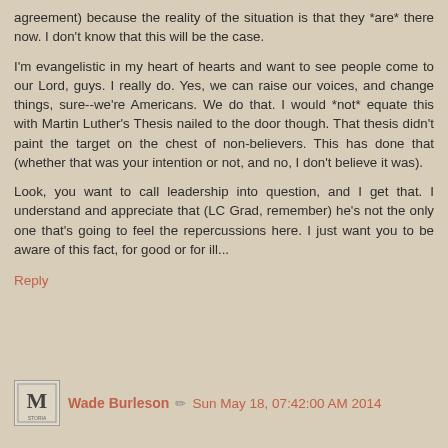agreement) because the reality of the situation is that they *are* there now. I don't know that this will be the case.
I'm evangelistic in my heart of hearts and want to see people come to our Lord, guys. I really do. Yes, we can raise our voices, and change things, sure--we're Americans. We do that. I would *not* equate this with Martin Luther's Thesis nailed to the door though. That thesis didn't paint the target on the chest of non-believers. This has done that (whether that was your intention or not, and no, I don't believe it was).
Look, you want to call leadership into question, and I get that. I understand and appreciate that (LC Grad, remember) he's not the only one that's going to feel the repercussions here. I just want you to be aware of this fact, for good or for ill...
Reply
Wade Burleson  Sun May 18, 07:42:00 AM 2014